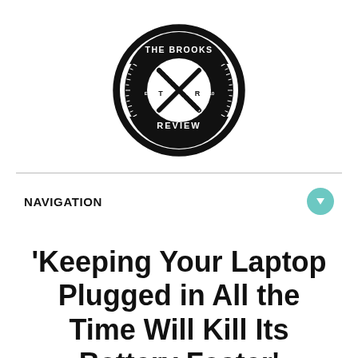[Figure (logo): The Brooks Review circular logo with crossed pen and pencil, EST 2010, black and white]
NAVIGATION
‘Keeping Your Laptop Plugged in All the Time Will Kill Its Battery Faster’